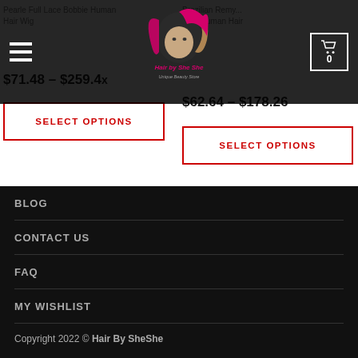Hair by She She - navigation bar with logo and cart
Pearle Full Lace Bobbie Human Hair Wig
$71.48 – $259.4x
SELECT OPTIONS
Brazilian Remy... from Human Hair
$62.64 – $178.26
SELECT OPTIONS
BLOG
CONTACT US
FAQ
MY WISHLIST
Copyright 2022 © Hair By SheShe